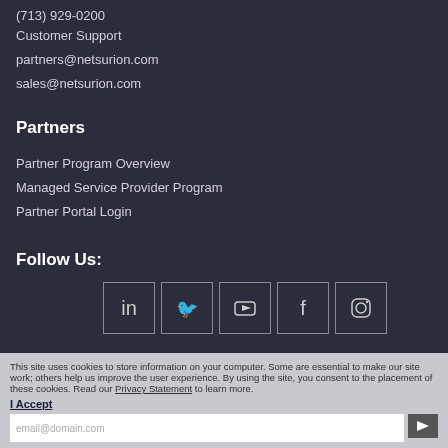(713) 929-0200
Customer Support
partners@netsurion.com
sales@netsurion.com
Partners
Partner Program Overview
Managed Service Provider Program
Partner Portal Login
Follow Us:
[Figure (infographic): Row of 5 social media icon buttons with outlines: LinkedIn, Twitter, YouTube, Facebook, Instagram]
This site uses cookies to store information on your computer. Some are essential to make our site work; others help us improve the user experience. By using the site, you consent to the placement of these cookies. Read our Privacy Statement to learn more.
I Accept
email@domain.com